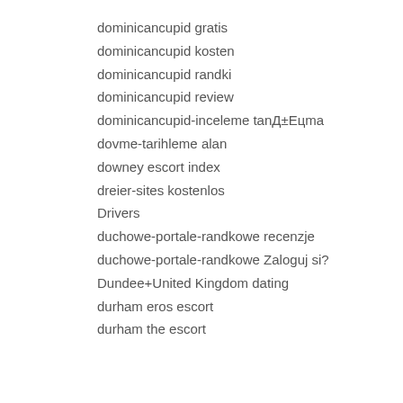dominicancupid gratis
dominicancupid kosten
dominicancupid randki
dominicancupid review
dominicancupid-inceleme tanД±Eцma
dovme-tarihleme alan
downey escort index
dreier-sites kostenlos
Drivers
duchowe-portale-randkowe recenzje
duchowe-portale-randkowe Zaloguj si?
Dundee+United Kingdom dating
durham eros escort
durham the escort